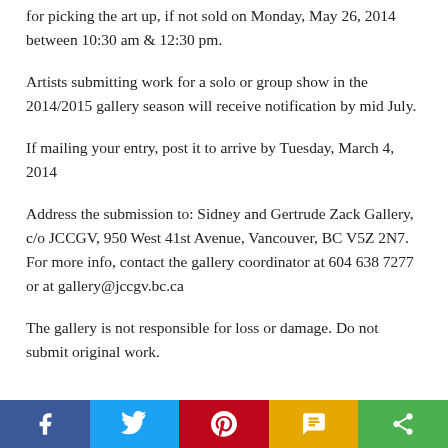for picking the art up, if not sold on Monday, May 26, 2014 between 10:30 am & 12:30 pm.
Artists submitting work for a solo or group show in the 2014/2015 gallery season will receive notification by mid July.
If mailing your entry, post it to arrive by Tuesday, March 4, 2014
Address the submission to: Sidney and Gertrude Zack Gallery, c/o JCCGV, 950 West 41st Avenue, Vancouver, BC V5Z 2N7. For more info, contact the gallery coordinator at 604 638 7277 or at gallery@jccgv.bc.ca
The gallery is not responsible for loss or damage. Do not submit original work.